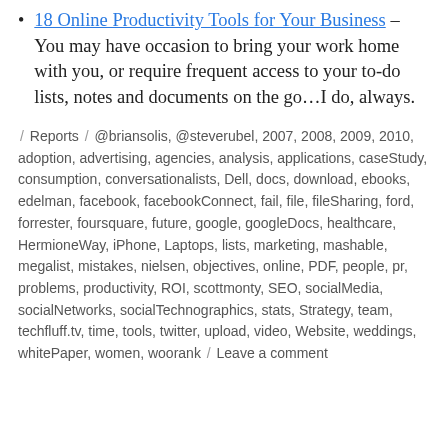18 Online Productivity Tools for Your Business – You may have occasion to bring your work home with you, or require frequent access to your to-do lists, notes and documents on the go…I do, always.
/ Reports / @briansolis, @steverubel, 2007, 2008, 2009, 2010, adoption, advertising, agencies, analysis, applications, caseStudy, consumption, conversationalists, Dell, docs, download, ebooks, edelman, facebook, facebookConnect, fail, file, fileSharing, ford, forrester, foursquare, future, google, googleDocs, healthcare, HermioneWay, iPhone, Laptops, lists, marketing, mashable, megalist, mistakes, nielsen, objectives, online, PDF, people, pr, problems, productivity, ROI, scottmonty, SEO, socialMedia, socialNetworks, socialTechnographics, stats, Strategy, team, techfluff.tv, time, tools, twitter, upload, video, Website, weddings, whitePaper, women, woorank / Leave a comment